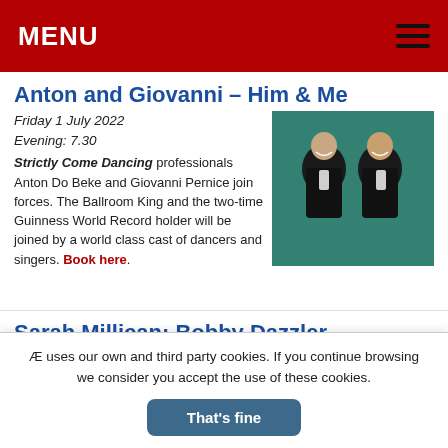MENU
Anton and Giovanni – Him & Me
Friday 1 July 2022
Evening: 7.30
Strictly Come Dancing professionals Anton Do Beke and Giovanni Pernice join forces. The Ballroom King and the two-time Guinness World Record holder will be joined by a world class cast of dancers and singers. Book here.
[Figure (photo): Photo of two men in black tuxedos smiling, green background]
Sarah Millican: Bobby Dazzler
Sat 2/Sun 3 July 2022
Evenings: 8pm.
Sarah is back on tour with a new stand-up show. In this, her sixth international tour, you'll learn about
[Figure (photo): Photo of a woman in a patterned dress on a gold background]
Æ uses our own and third party cookies. If you continue browsing we consider you accept the use of these cookies.
That's fine